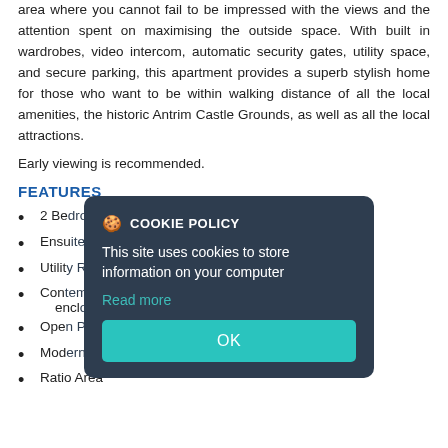area where you cannot fail to be impressed with the views and the attention spent on maximising the outside space. With built in wardrobes, video intercom, automatic security gates, utility space, and secure parking, this apartment provides a superb stylish home for those who want to be within walking distance of all the local amenities, the historic Antrim Castle Grounds, as well as all the local attractions.
Early viewing is recommended.
FEATURES
2 Be...
Ensu...
Utilit...
Con... encl...
Ope...
Mod...
Ratio Area
[Figure (other): Cookie policy modal dialog overlay with dark background, showing cookie icon, 'COOKIE POLICY' title, description text, 'Read more' link, and 'OK' button in teal.]